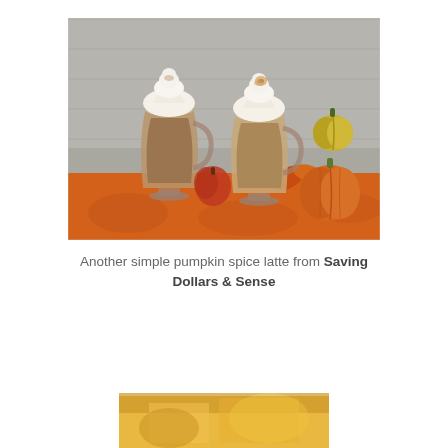[Figure (photo): Two glass mugs filled with pumpkin spice latte topped with whipped cream, surrounded by small pumpkins and fall leaves on an orange floral placemat, with a grey wood plank background.]
Another simple pumpkin spice latte from Saving Dollars & Sense
[Figure (photo): Partial view of another food or drink image at the bottom of the page, partially cropped.]